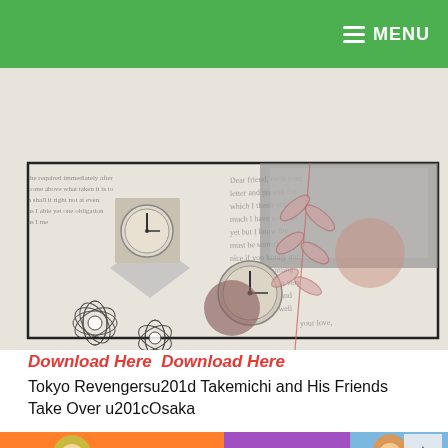MENU
[Figure (illustration): Decorative collage image with handwritten letter background, clock photographs, flower line drawings, leaf botanical illustration, and abstract color blobs in mauve and terracotta.]
Download Here  Download Here
Tokyo Revengersu201d Takemichi and His Friends Take Over u201cOsaka
[Figure (illustration): Anime-style promotional image for Tokyo Revengers featuring two characters on orange and purple/blue background with the Tokyo Revengers logo.]